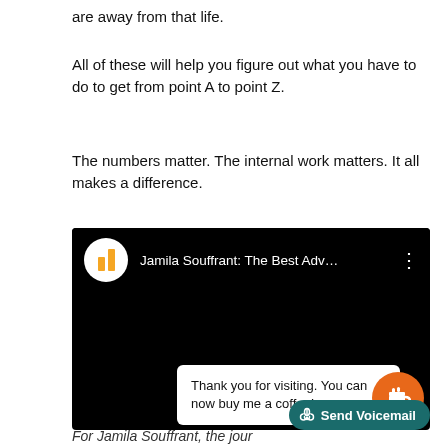are away from that life.
All of these will help you figure out what you have to do to get from point A to point Z.
The numbers matter. The internal work matters. It all makes a difference.
[Figure (screenshot): Screenshot of a video player interface showing a YouTube-style video titled 'Jamila Souffrant: The Best Adv...' with a white popup card saying 'Thank you for visiting. You can now buy me a coffee!' and an orange coffee cup button, plus a teal 'Send Voicemail' button overlay.]
For Jamila Souffrant, the jour...